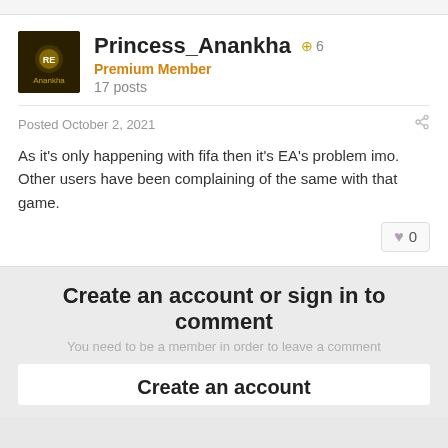Princess_Anankha +6
Premium Member
17 posts
Posted October 2, 2021
As it's only happening with fifa then it's EA's problem imo.
Other users have been complaining of the same with that game.
♥ 0
Create an account or sign in to comment
You need to be a member in order to leave a comment
Create an account